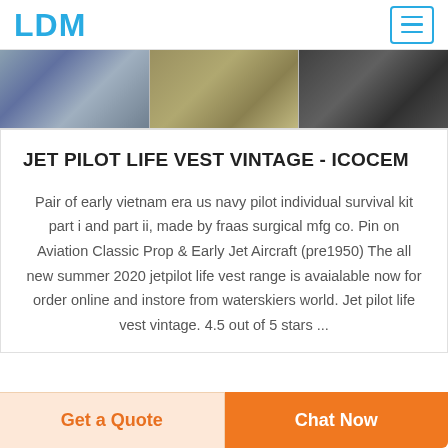LDM
[Figure (photo): Three product images side by side: military/pilot gear items including what appears to be a life vest or harness, a tactical vest/bag, and a dark shoulder bag]
JET PILOT LIFE VEST VINTAGE - ICOCEM
Pair of early vietnam era us navy pilot individual survival kit part i and part ii, made by fraas surgical mfg co. Pin on Aviation Classic Prop & Early Jet Aircraft (pre1950) The all new summer 2020 jetpilot life vest range is avaialable now for order online and instore from waterskiers world. Jet pilot life vest vintage. 4.5 out of 5 stars ...